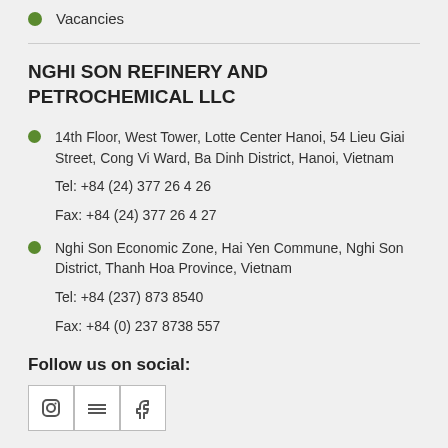Vacancies
NGHI SON REFINERY AND PETROCHEMICAL LLC
14th Floor, West Tower, Lotte Center Hanoi, 54 Lieu Giai Street, Cong Vi Ward, Ba Dinh District, Hanoi, Vietnam

Tel: +84 (24) 377 26 4 26

Fax: +84 (24) 377 26 4 27
Nghi Son Economic Zone, Hai Yen Commune, Nghi Son District, Thanh Hoa Province, Vietnam

Tel: +84 (237) 873 8540

Fax: +84 (0) 237 8738 557
Follow us on social: